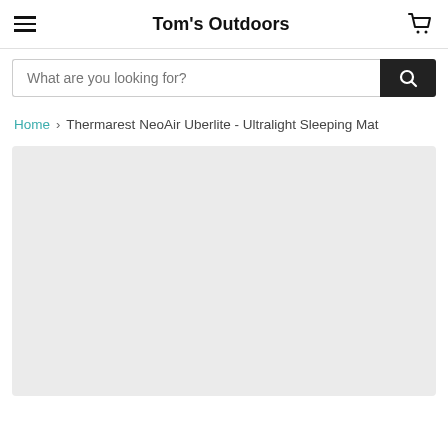Tom's Outdoors
What are you looking for?
Home > Thermarest NeoAir Uberlite - Ultralight Sleeping Mat
[Figure (photo): Light grey product image placeholder rectangle]